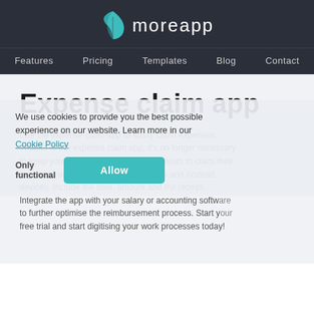moreapp
Features  Pricing  Templates  Blog  Contact
Expense claim app
Use the expense claim app to easily claim expenses. Thanks to the expense claim app, it's no longer necessary to keep your paper receipts. Help your team to claim their expenses with the app available for iOS and Android devices. Include the date, amount and the receipt. Integrate the app with your salary or accounting software to further optimise the reimbursement process. Start your free trial and start digitising your work processes today!
We use cookies to provide you the best possible experience on our website. Learn more in our Cookie Policy
Only functional  Allow